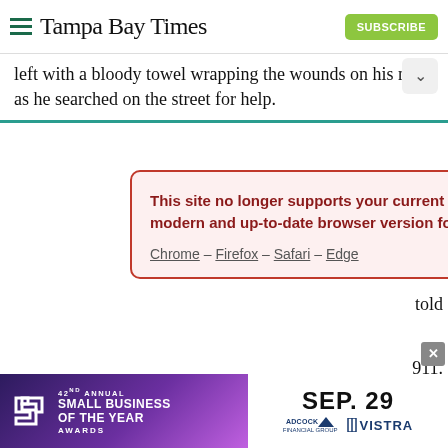Tampa Bay Times — SUBSCRIBE
left with a bloody towel wrapping the wounds on his neck as he searched on the street for help.
[Figure (screenshot): Browser compatibility warning modal overlay with red border on pink background. Text reads: 'This site no longer supports your current browser. Please use a modern and up-to-date browser version for the best experience.' with links: Chrome – Firefox – Safari – Edge. Red X close button in top right corner.]
Enjoy unlimited access to tampabay.com for only $11.75 $0.99 for the first month.
Subscribe   Log In
Interested in print delivery? Subscribe here →
[Figure (infographic): Advertisement banner for 42nd Annual Small Business of the Year Awards on Sep. 29, with purple gradient background on left showing stylized S logo, and white section on right with date SEP. 29 and sponsor logos: Adcock Financial Group and Vistra.]